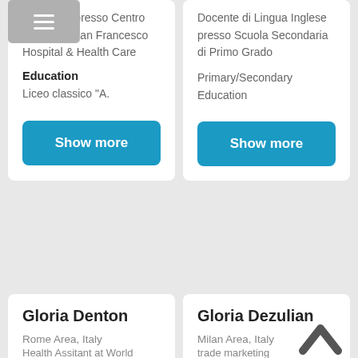Impiegata presso Centro dentistico San Francesco Hospital & Health Care
Education
Liceo classico "A.
Show more
Docente di Lingua Inglese presso Scuola Secondaria di Primo Grado
Primary/Secondary Education
Show more
Gloria Denton
Rome Area, Italy
Health Assitant at World
Gloria Dezulian
Milan Area, Italy
trade marketing